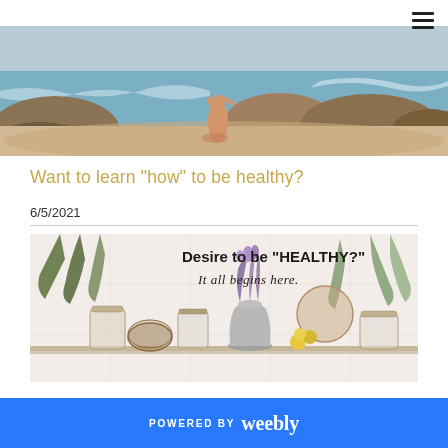[Figure (photo): A barefoot person walking on rocky sandy beach with ocean waves in the background, panoramic hero banner]
Want to learn "how" to be healthy?
6/5/2021
[Figure (photo): A shelf with text 'Desire to be "HEALTHY?" It all begins here.' overlaid, showing various glass jars, dried herbs, lavender flowers in a silver vase, and dried botanical bundles]
POWERED BY weebly